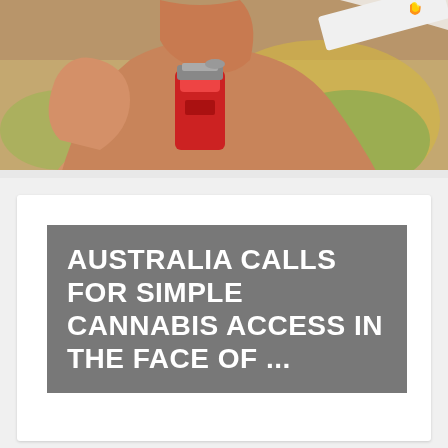[Figure (photo): Close-up photo of a hand holding a red lighter and lighting a cigarette/joint, with a colorful fabric in the background]
AUSTRALIA CALLS FOR SIMPLE CANNABIS ACCESS IN THE FACE OF ...